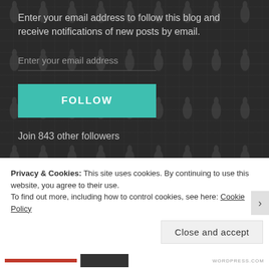Enter your email address to follow this blog and receive notifications of new posts by email.
Enter your email address
FOLLOW
Join 843 other followers
SEARCH THIS BLOG
Privacy & Cookies: This site uses cookies. By continuing to use this website, you agree to their use.
To find out more, including how to control cookies, see here: Cookie Policy
Close and accept